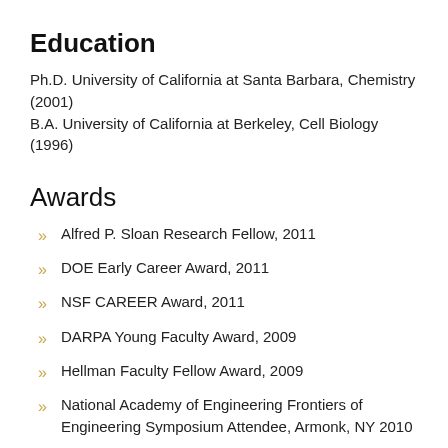Education
Ph.D. University of California at Santa Barbara, Chemistry (2001)
B.A. University of California at Berkeley, Cell Biology (1996)
Awards
Alfred P. Sloan Research Fellow, 2011
DOE Early Career Award, 2011
NSF CAREER Award, 2011
DARPA Young Faculty Award, 2009
Hellman Faculty Fellow Award, 2009
National Academy of Engineering Frontiers of Engineering Symposium Attendee, Armonk, NY 2010
IBM Innovation Research Award, 2005-2007